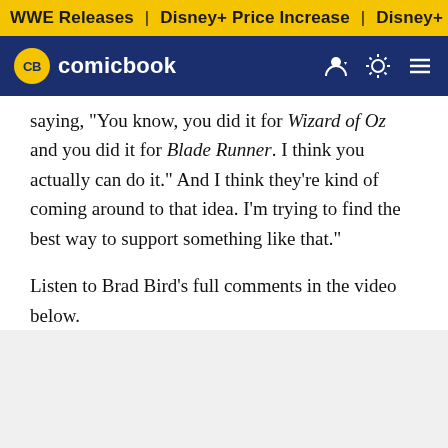WWE Releases | Disney+ Price Increase | Disney+ Price Incre
CB comicbook
saying, "You know, you did it for Wizard of Oz and you did it for Blade Runner. I think you actually can do it." And I think they're kind of coming around to that idea. I'm trying to find the best way to support something like that."
Listen to Brad Bird's full comments in the video below.